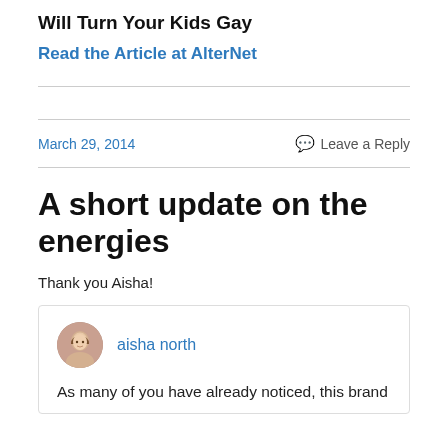Will Turn Your Kids Gay
Read the Article at AlterNet
March 29, 2014   Leave a Reply
A short update on the energies
Thank you Aisha!
aisha north
As many of you have already noticed, this brand